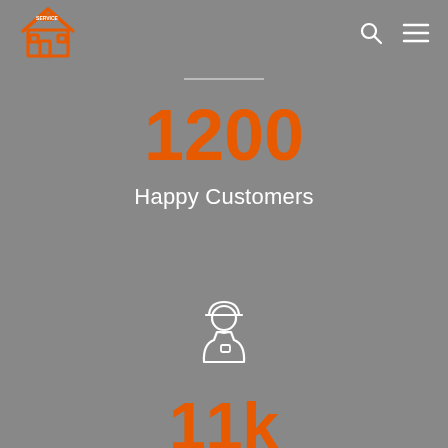[Figure (logo): Orange house/building logo icon in top left]
[Figure (other): Search icon (magnifying glass) in top right navigation]
[Figure (other): Hamburger menu icon in top right navigation]
1200
Happy Customers
[Figure (illustration): White outline icon of a construction worker wearing a hard hat]
11k
Working Hours